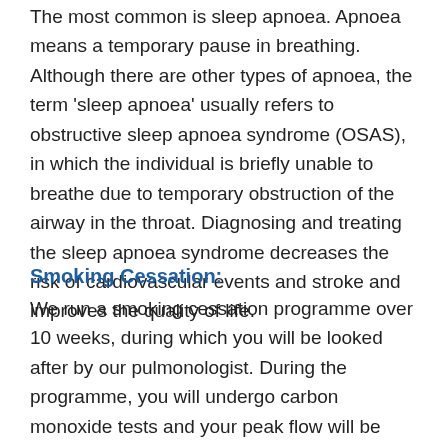The most common is sleep apnoea. Apnoea means a temporary pause in breathing. Although there are other types of apnoea, the term 'sleep apnoea' usually refers to obstructive sleep apnoea syndrome (OSAS), in which the individual is briefly unable to breathe due to temporary obstruction of the airway in the throat. Diagnosing and treating the sleep apnoea syndrome decreases the risk of cardiovascular events and stroke and improves the quality of life.
Smoking Cessation:
We run a smoking cessation programme over 10 weeks, during which you will be looked after by our pulmonologist. During the programme, you will undergo carbon monoxide tests and your peak flow will be monitored. To help you stop smoking, you may be prescribed medication. Additional sessions with the neuropsychologist are also available.